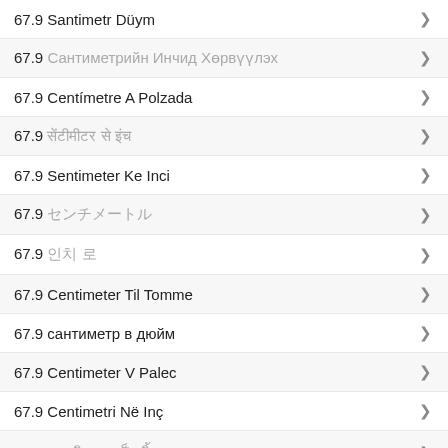67.9 Santimetr Düym
67.9 Сантиметрийн Инчид Хөрвүүлэх
67.9 Centímetre A Polzada
67.9 सेंटीमीटर से इंच
67.9 Sentimeter Ke Inci
67.9 センチメートル
67.9 인치 로
67.9 Centimeter Til Tomme
67.9 сантиметр в дюйм
67.9 Centimeter V Palec
67.9 Centimetri Në Inç
67.9 เซนติเมตรเป็นนิ้ว
67.9 சென்டிமீட்டர் இஞ்சு